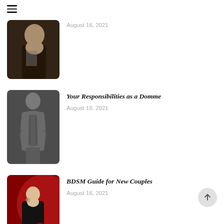[Figure (other): Hamburger menu icon (three horizontal lines)]
[Figure (photo): Partially draped female figure in artistic pose, warm toned photo]
August 16, 2021
[Figure (photo): Black and white photo of a person's back with muscular definition]
Your Responsibilities as a Domme
August 16, 2021
[Figure (photo): Woman in black jacket posed against red background with crescent moon motif]
BDSM Guide for New Couples
August 16, 2021